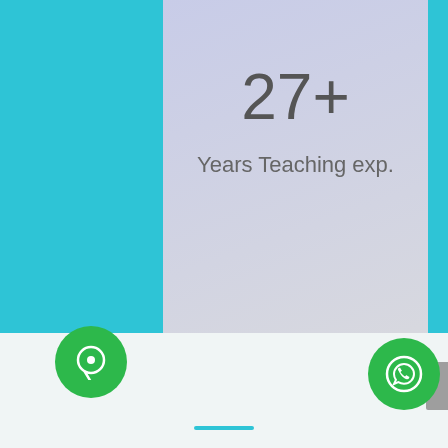27+
Years Teaching exp.
47+
Projects